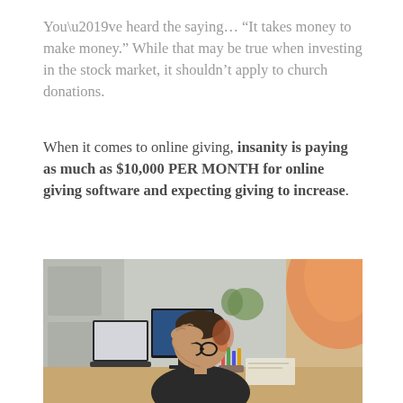You’ve heard the saying… “It takes money to make money.” While that may be true when investing in the stock market, it shouldn’t apply to church donations.
When it comes to online giving, insanity is paying as much as $10,000 PER MONTH for online giving software and expecting giving to increase.
[Figure (photo): A stressed man sitting at a desk with a laptop and computer monitor, holding his head in his hand with glasses in hand, in a home office setting with warm orange light coming from a window.]